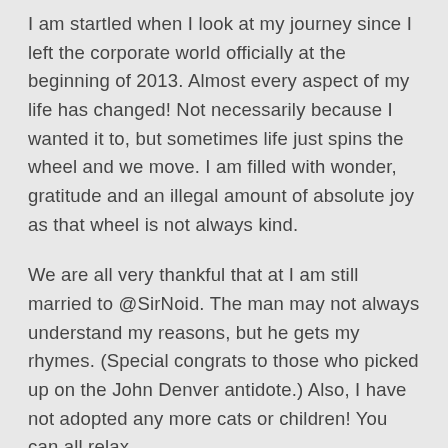I am startled when I look at my journey since I left the corporate world officially at the beginning of 2013. Almost every aspect of my life has changed! Not necessarily because I wanted it to, but sometimes life just spins the wheel and we move. I am filled with wonder, gratitude and an illegal amount of absolute joy as that wheel is not always kind.
We are all very thankful that at I am still married to @SirNoid. The man may not always understand my reasons, but he gets my rhymes. (Special congrats to those who picked up on the John Denver antidote.) Also, I have not adopted any more cats or children! You can all relax.